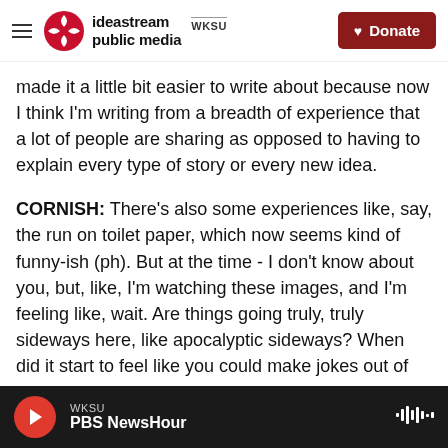ideastream public media WKSU | Donate
made it a little bit easier to write about because now I think I'm writing from a breadth of experience that a lot of people are sharing as opposed to having to explain every type of story or every new idea.
CORNISH: There's also some experiences like, say, the run on toilet paper, which now seems kind of funny-ish (ph). But at the time - I don't know about you, but, like, I'm watching these images, and I'm feeling like, wait. Are things going truly, truly sideways here, like apocalyptic sideways? When did it start to feel like you could make jokes out of
WKSU | PBS NewsHour